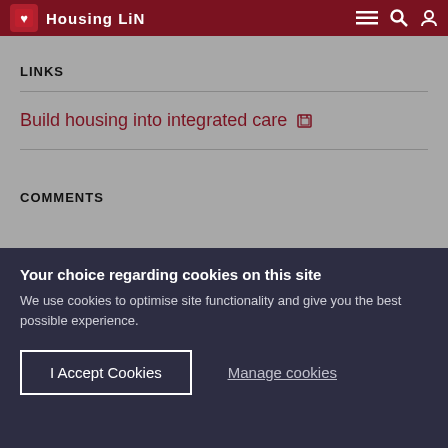Housing LIN
LINKS
Build housing into integrated care
COMMENTS
Your choice regarding cookies on this site
We use cookies to optimise site functionality and give you the best possible experience.
I Accept Cookies
Manage cookies